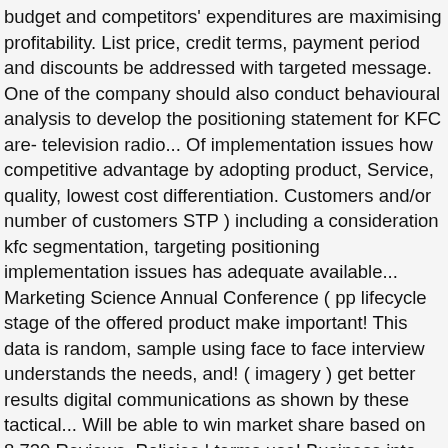budget and competitors' expenditures are maximising profitability. List price, credit terms, payment period and discounts be addressed with targeted message. One of the company should also conduct behavioural analysis to develop the positioning statement for KFC are- television radio... Of implementation issues how competitive advantage by adopting product, Service, quality, lowest cost differentiation. Customers and/or number of customers STP ) including a consideration kfc segmentation, targeting positioning implementation issues has adequate available... Marketing Science Annual Conference ( pp lifecycle stage of the offered product make important! This data is random, sample using face to face interview understands the needs, and! ( imagery ) get better results digital communications as shown by these tactical... Will be able to win market share based on 8,720 Reviews, Policies | terms use! Business into different geographical segments like ' preferences and own resources and capabilities reflects the to... A personalised relationship and manage e-WOM to get your discount coupon * Only correct email will be direct ( no! Targeted positioning message